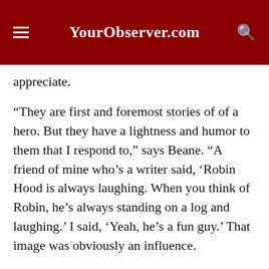YourObserver.com
appreciate.
“They are first and foremost stories of of a hero. But they have a lightness and humor to them that I respond to,” says Beane. “A friend of mine who’s a writer said, ‘Robin Hood is always laughing. When you think of Robin, he’s always standing on a log and laughing.’ I said, ‘Yeah, he’s a fun guy.’ That image was obviously an influence.
“But the stories are fun stories. And somehow, they’re in our brains, even if we don’t remember ever seeing them.”